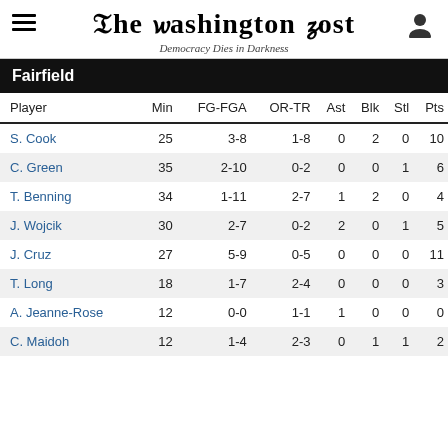The Washington Post — Democracy Dies in Darkness
Fairfield
| Player | Min | FG-FGA | OR-TR | Ast | Blk | Stl | Pts |
| --- | --- | --- | --- | --- | --- | --- | --- |
| S. Cook | 25 | 3-8 | 1-8 | 0 | 2 | 0 | 10 |
| C. Green | 35 | 2-10 | 0-2 | 0 | 0 | 1 | 6 |
| T. Benning | 34 | 1-11 | 2-7 | 1 | 2 | 0 | 4 |
| J. Wojcik | 30 | 2-7 | 0-2 | 2 | 0 | 1 | 5 |
| J. Cruz | 27 | 5-9 | 0-5 | 0 | 0 | 0 | 11 |
| T. Long | 18 | 1-7 | 2-4 | 0 | 0 | 0 | 3 |
| A. Jeanne-Rose | 12 | 0-0 | 1-1 | 1 | 0 | 0 | 0 |
| C. Maidoh | 12 | 1-4 | 2-3 | 0 | 1 | 1 | 2 |